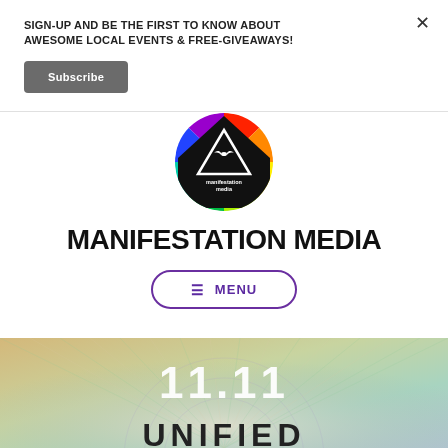SIGN-UP AND BE THE FIRST TO KNOW ABOUT AWESOME LOCAL EVENTS & FREE-GIVEAWAYS!
Subscribe
[Figure (logo): Manifestation Media circular logo with rainbow colored star/sunburst pattern and a black triangle in the center with text 'manifestation media']
MANIFESTATION MEDIA
☰ MENU
[Figure (illustration): Bottom portion showing a colorful event poster with geometric line patterns in green, pink and gold colors, with text '11.11' and 'UNIFIED' partially visible]